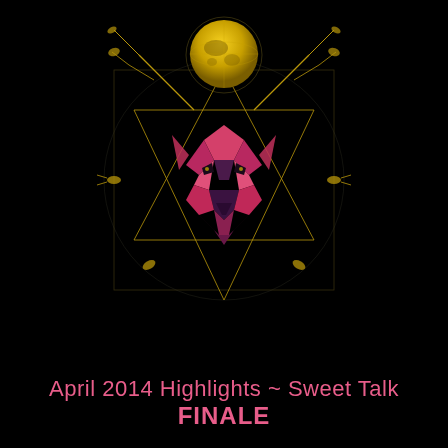[Figure (illustration): A geometric mystical deer/stag head logo composed of pink and purple polygonal facets, with golden geometric lines forming a star and cube pattern around it, and a golden globe at the top center, on a black background.]
April 2014 Highlights ~ Sweet Talk FINALE